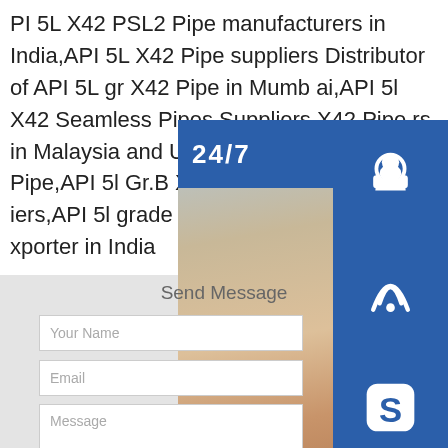PI 5L X42 PSL2 Pipe manufacturers in India,API 5L X42 Pipe suppliers Distributor of API 5L gr X42 Pipe in Mumbai,API 5l X42 Seamless Pipes Suppliers,X42 Pipe rs in Malaysia and UAE Manufacturer of 2 Pipe,API 5l Gr.B X42 Welded Carbon S iers,API 5l grade X42 Pipe Price,API 5l X xporter in India
[Figure (photo): Customer service widget with 24/7 label, headset agent photo, contact icons (headset, phone, Skype), and online live button]
Send Message
Your Name
Email
Message
Send Message